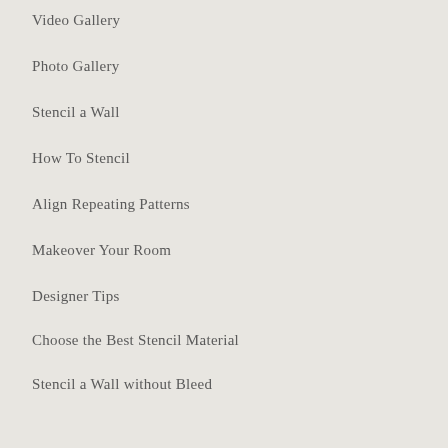Video Gallery
Photo Gallery
Stencil a Wall
How To Stencil
Align Repeating Patterns
Makeover Your Room
Designer Tips
Choose the Best Stencil Material
Stencil a Wall without Bleed
Seasonal Specials
Fall Stencils
Halloween Stencils
Thanksgiving Stencils